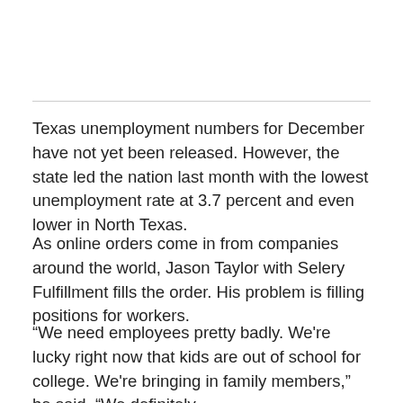Texas unemployment numbers for December have not yet been released. However, the state led the nation last month with the lowest unemployment rate at 3.7 percent and even lower in North Texas.
As online orders come in from companies around the world, Jason Taylor with Selery Fulfillment fills the order. His problem is filling positions for workers.
“We need employees pretty badly. We're lucky right now that kids are out of school for college. We're bringing in family members,” he said. “We definitely